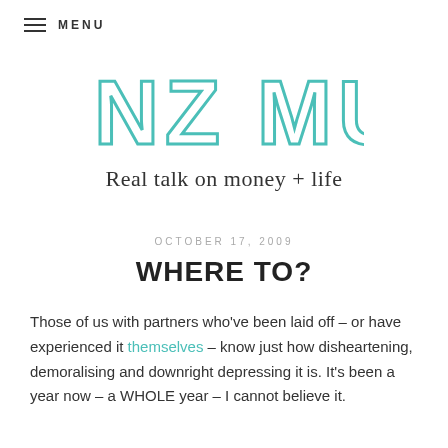MENU
NZ MUSE
Real talk on money + life
OCTOBER 17, 2009
WHERE TO?
Those of us with partners who've been laid off – or have experienced it themselves – know just how disheartening, demoralising and downright depressing it is. It's been a year now – a WHOLE year – I cannot believe it.